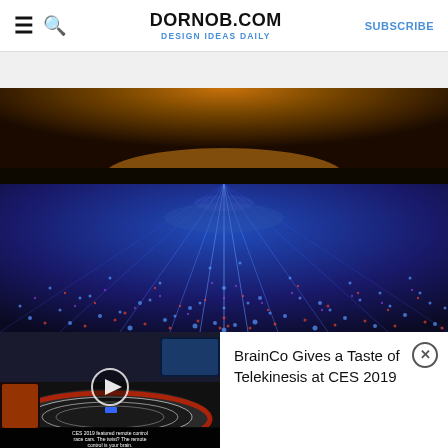DORNOB.COM — DESIGN IDEAS DAILY — SUBSCRIBE
[Figure (photo): Aerial/ground-level panoramic photo of a field illuminated with blue and red/orange LED lights at night, creating rows of lights converging to a horizon with a warm orange glow in the sky.]
[Figure (screenshot): Video thumbnail showing a slot car racing track at CES 2019 with remote control features. Caption text: CES 2019 featured remote control race cars. The twist? The remote control is your brain.]
BrainCo Gives a Taste of Telekinesis at CES 2019